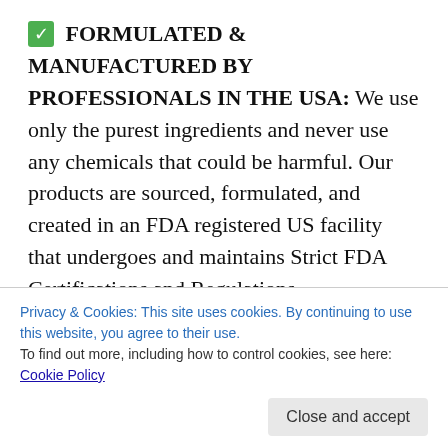✅ FORMULATED & MANUFACTURED BY PROFESSIONALS IN THE USA: We use only the purest ingredients and never use any chemicals that could be harmful. Our products are sourced, formulated, and created in an FDA registered US facility that undergoes and maintains Strict FDA Certifications and Regulations.
✅ HEAL NATURALLY, HEAL RESPONSIBLY: ANALGIA is part of a class of treatments that work
Privacy & Cookies: This site uses cookies. By continuing to use this website, you agree to their use. To find out more, including how to control cookies, see here: Cookie Policy